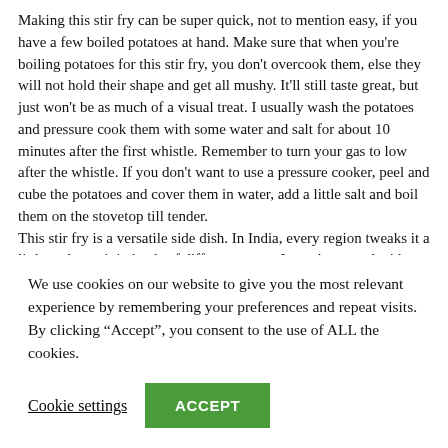Making this stir fry can be super quick, not to mention easy, if you have a few boiled potatoes at hand. Make sure that when you're boiling potatoes for this stir fry, you don't overcook them, else they will not hold their shape and get all mushy. It'll still taste great, but just won't be as much of a visual treat. I usually wash the potatoes and pressure cook them with some water and salt for about 10 minutes after the first whistle. Remember to turn your gas to low after the whistle. If you don't want to use a pressure cooker, peel and cube the potatoes and cover them in water, add a little salt and boil them on the stovetop till tender.
This stir fry is a versatile side dish. In India, every region tweaks it a little and uses it in loads of different ways.  It can be served with some hot chapatis (Whole wheat flat bread), pooris (savory deep fried flat bread), used as stuffing for masala dosas (savory crispy crepes filled with this potato mix) and so on. I'm going to try to post...
We use cookies on our website to give you the most relevant experience by remembering your preferences and repeat visits. By clicking "Accept", you consent to the use of ALL the cookies.